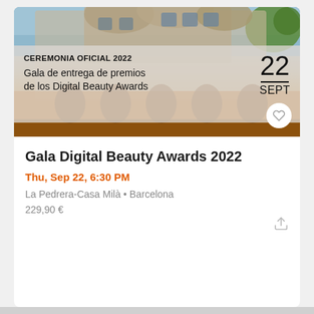[Figure (photo): Photo of La Pedrera-Casa Milà building in Barcelona with architectural facade, used as event banner. Overlaid text reads 'CEREMONIA OFICIAL 2022' and 'Gala de entrega de premios de los Digital Beauty Awards' with date '22 SEPT'.]
Gala Digital Beauty Awards 2022
Thu, Sep 22, 6:30 PM
La Pedrera-Casa Milà • Barcelona
229,90 €